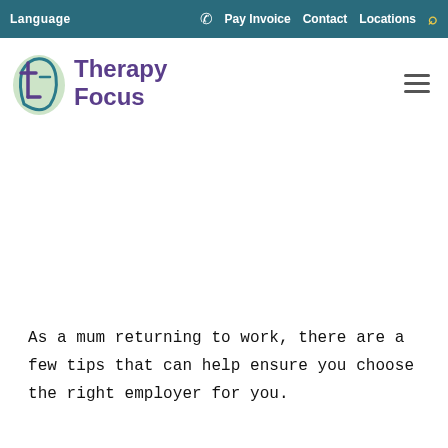Language | Pay Invoice | Contact | Locations
[Figure (logo): Therapy Focus logo with stylized face icon in teal/green and purple text reading 'Therapy Focus']
As a mum returning to work, there are a few tips that can help ensure you choose the right employer for you.